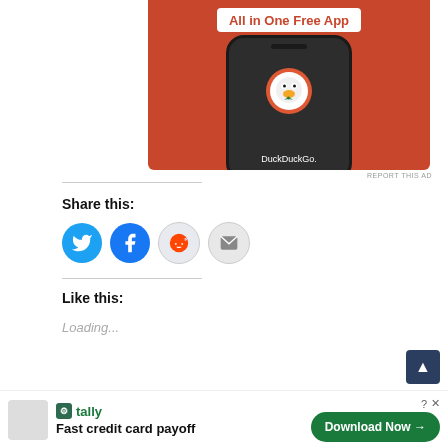[Figure (photo): DuckDuckGo app advertisement showing a smartphone with DuckDuckGo logo on orange background, text 'All in One Free App']
REPORT THIS AD
Share this:
[Figure (infographic): Four social sharing buttons: Twitter (blue bird), Facebook (blue f), Reddit (grey alien), Email (grey envelope)]
Like this:
Loading...
[Figure (infographic): Bottom advertisement bar: Tally app - Fast credit card payoff, Download Now button, close (X) and info (?) icons]